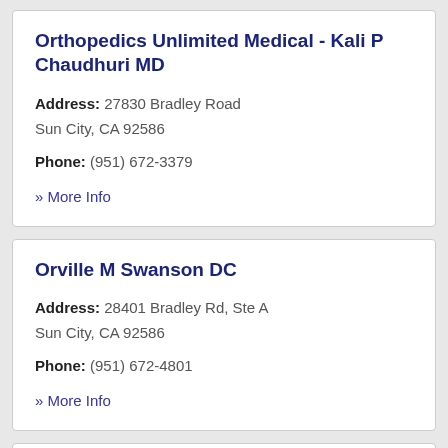Orthopedics Unlimited Medical - Kali P Chaudhuri MD
Address: 27830 Bradley Road Sun City, CA 92586
Phone: (951) 672-3379
» More Info
Orville M Swanson DC
Address: 28401 Bradley Rd, Ste A Sun City, CA 92586
Phone: (951) 672-4801
» More Info